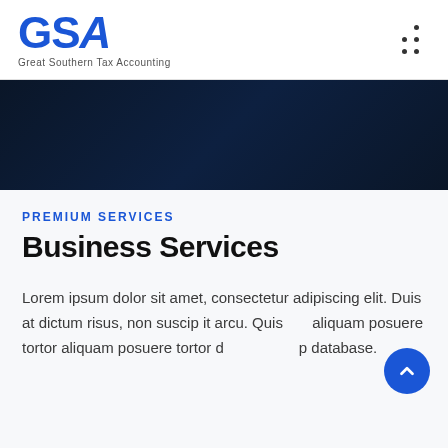GSA Great Southern Tax Accounting
[Figure (illustration): Dark navy blue banner/hero image area]
PREMIUM SERVICES
Business Services
Lorem ipsum dolor sit amet, consectetur adipiscing elit. Duis at dictum risus, non suscip it arcu. Quisque aliquam posuere tortor aliquam posuere tortor dignissim database.